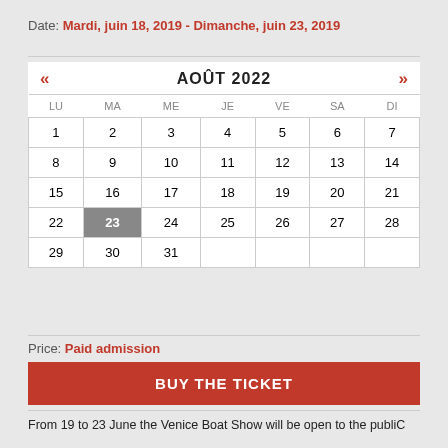Date: Mardi, juin 18, 2019 - Dimanche, juin 23, 2019
| LU | MA | ME | JE | VE | SA | DI |
| --- | --- | --- | --- | --- | --- | --- |
| 1 | 2 | 3 | 4 | 5 | 6 | 7 |
| 8 | 9 | 10 | 11 | 12 | 13 | 14 |
| 15 | 16 | 17 | 18 | 19 | 20 | 21 |
| 22 | 23 | 24 | 25 | 26 | 27 | 28 |
| 29 | 30 | 31 |  |  |  |  |
Price: Paid admission
BUY THE TICKET
From 19 to 23 June the Venice Boat Show will be open to the publiC